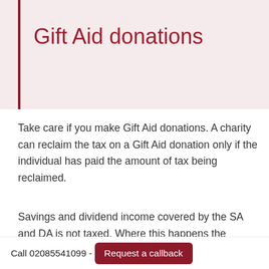Gift Aid donations
Take care if you make Gift Aid donations. A charity can reclaim the tax on a Gift Aid donation only if the individual has paid the amount of tax being reclaimed.
Savings and dividend income covered by the SA and DA is not taxed. Where this happens the individual is responsible for ensuring that the donation is covered and HMRC has powers to recover any shortfall from the taxpayer.
Planning f…
Call 02085541099 - Request a callback